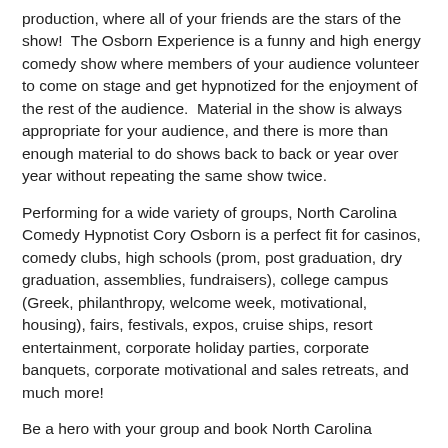production, where all of your friends are the stars of the show!  The Osborn Experience is a funny and high energy comedy show where members of your audience volunteer to come on stage and get hypnotized for the enjoyment of the rest of the audience.  Material in the show is always appropriate for your audience, and there is more than enough material to do shows back to back or year over year without repeating the same show twice.
Performing for a wide variety of groups, North Carolina Comedy Hypnotist Cory Osborn is a perfect fit for casinos, comedy clubs, high schools (prom, post graduation, dry graduation, assemblies, fundraisers), college campus (Greek, philanthropy, welcome week, motivational, housing), fairs, festivals, expos, cruise ships, resort entertainment, corporate holiday parties, corporate banquets, corporate motivational and sales retreats, and much more!
Be a hero with your group and book North Carolina